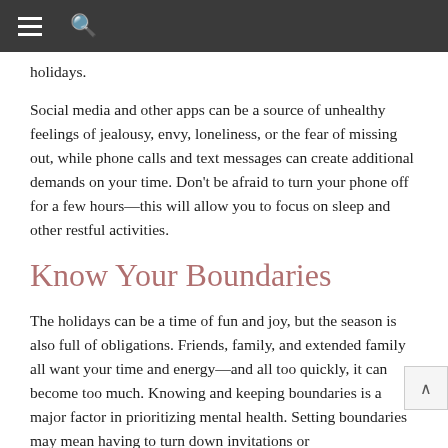☰🔍
holidays.
Social media and other apps can be a source of unhealthy feelings of jealousy, envy, loneliness, or the fear of missing out, while phone calls and text messages can create additional demands on your time. Don't be afraid to turn your phone off for a few hours—this will allow you to focus on sleep and other restful activities.
Know Your Boundaries
The holidays can be a time of fun and joy, but the season is also full of obligations. Friends, family, and extended family all want your time and energy—and all too quickly, it can become too much. Knowing and keeping boundaries is a major factor in prioritizing mental health. Setting boundaries may mean having to turn down invitations or